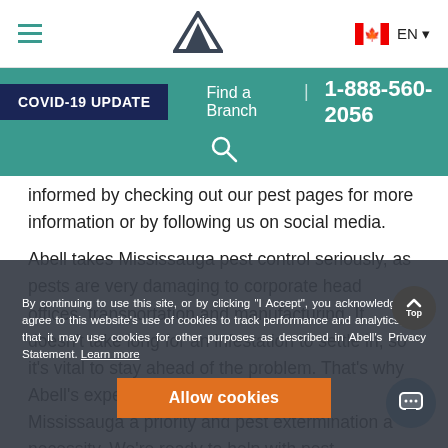[Figure (screenshot): Website navigation bar with hamburger menu, Abell logo, Canadian flag and EN language selector]
[Figure (screenshot): Teal banner with COVID-19 UPDATE button, Find a Branch link, phone number 1-888-560-2056, and search icon]
informed by checking out our pest pages for more information or by following us on social media.
Abell takes Mississauga pest control seriously, as pests are very damaging to corporate head offices, transportation and manufacturing. It doesn't take long for an infestation to settle in, so it's vital to stay ahead of the problem. That's why Abell's experts make pest prevention in Mississauga a priority and pest extermination a necessity. We're ready to help with pest control problems 24/7 across Peel Region. And better yet, Abell offers home protection plans so our expert technicians can prevent and manage infestations throughout the year.
By continuing to use this site, or by clicking "I Accept", you acknowledge and agree to this website's use of cookies to track performance and analytics, and that it may use cookies for other purposes as described in Abell's Privacy Statement. Learn more
Allow cookies